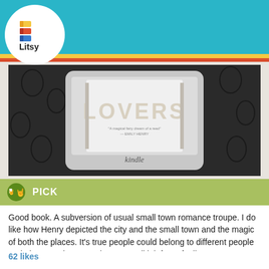[Figure (screenshot): Litsy app screenshot showing a Kindle device with the word LOVERS on screen, navigation bar with home, search, add, activity, and profile icons, and the Litsy logo]
PICK
Good book. A subversion of usual small town romance troupe. I do like how Henry depicted the city and the small town and the magic of both the places. It's true people could belong to different people and places at the same time. Overall it left me feeling warm.
62 likes